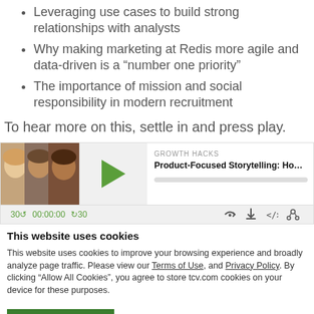Leveraging use cases to build strong relationships with analysts
Why making marketing at Redis more agile and data-driven is a “number one priority”
The importance of mission and social responsibility in modern recruitment
To hear more on this, settle in and press play.
[Figure (screenshot): Podcast player widget showing Growth Hacks episode 'Product-Focused Storytelling: How R...' with play button, progress bar, and controls (30s back, timestamp 00:00:00, 30s forward, RSS, download, embed, share)]
This website uses cookies
This website uses cookies to improve your browsing experience and broadly analyze page traffic. Please view our Terms of Use, and Privacy Policy. By clicking “Allow All Cookies”, you agree to store tcv.com cookies on your device for these purposes.
Allow all cookies
Show details